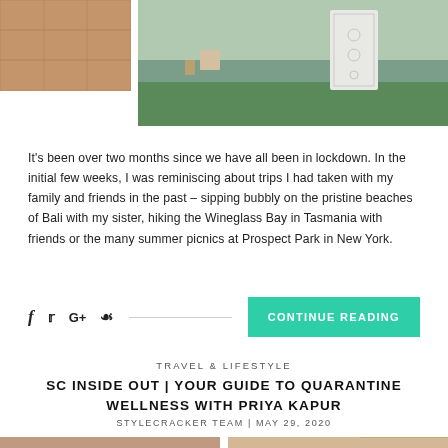[Figure (photo): Top collage: left side shows a terracotta-tiled outdoor patio area; right side shows a modern outdoor space with greenery and a decorative white screen panel.]
It's been over two months since we have all been in lockdown. In the initial few weeks, I was reminiscing about trips I had taken with my family and friends in the past – sipping bubbly on the pristine beaches of Bali with my sister, hiking the Wineglass Bay in Tasmania with friends or the many summer picnics at Prospect Park in New York.
[Figure (infographic): Social sharing icons (Facebook, Twitter, Google+, Pinterest) with a horizontal divider line and a green 'CONTINUE READING' button on the right.]
TRAVEL & LIFESTYLE
SC INSIDE OUT | YOUR GUIDE TO QUARANTINE WELLNESS WITH PRIYA KAPUR
STYLECRACKER TEAM | MAY 29, 2020
[Figure (photo): Bottom collage: left photo shows a smiling woman; right photo shows a hand holding gold jewellery with green stones.]